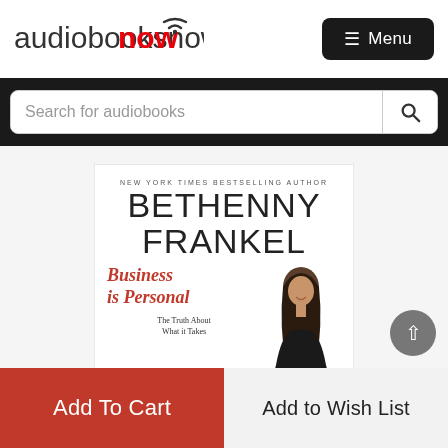[Figure (logo): Audiobooksnow logo with wifi signal arc over the letter 'o' in 'now', text in grey and red]
[Figure (screenshot): Menu button - dark rounded rectangle with hamburger icon and 'Menu' text in white]
[Figure (screenshot): Search bar with placeholder text 'Search for audiobooks' and magnifying glass icon on dark background]
[Figure (photo): Book cover for 'Business is Personal' by Bethenny Frankel. Shows author name in large thin font, book title in red italic serif font, subtitle 'The Truth About What it Takes', and photo of woman with dark hair.]
Add To Cart
Add to Wish List